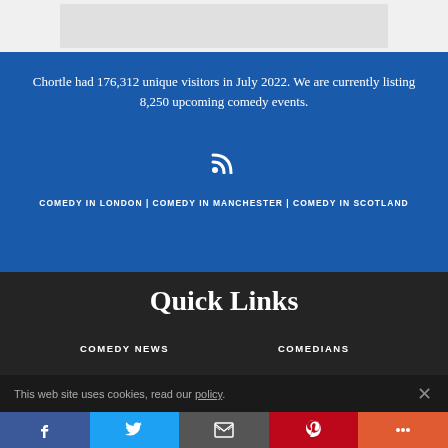[Figure (screenshot): Top gray banner area with a lighter inner rectangle]
Chortle had 176,312 unique visitors in July 2022. We are currently listing 8,250 upcoming comedy events.
[Figure (other): RSS feed icon]
COMEDY IN LONDON | COMEDY IN MANCHESTER | COMEDY IN SCOTLAND
Quick Links
COMEDY NEWS
COMEDIANS
This web site uses cookies, read our policy.
[Figure (other): Social media buttons bar: Facebook, Twitter, Email, Pinterest, More]